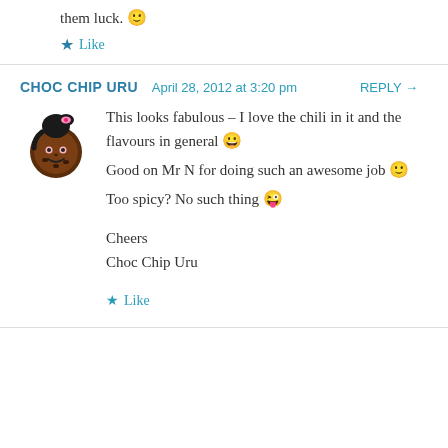them luck. 🙂
★ Like
CHOC CHIP URU   April 28, 2012 at 3:20 pm   REPLY →
[Figure (illustration): Avatar of Choc Chip Uru — cartoon illustration of a dark-skinned girl with a ponytail, wearing pink accessories, styled as a chocolate chip cookie character]
This looks fabulous – I love the chili in it and the flavours in general 😀
Good on Mr N for doing such an awesome job 🙂
Too spicy? No such thing 😜

Cheers
Choc Chip Uru
★ Like